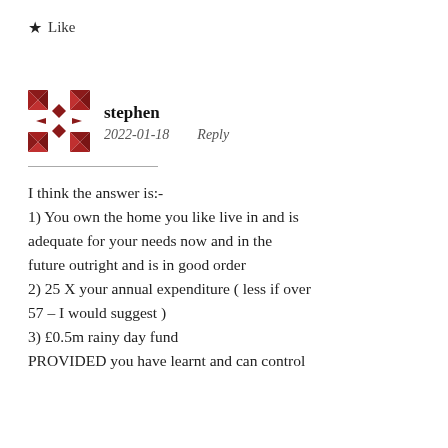★ Like
[Figure (illustration): Red geometric/quilt pattern avatar icon for user stephen]
stephen
2022-01-18    Reply
I think the answer is:-
1) You own the home you like live in and is adequate for your needs now and in the future outright and is in good order
2) 25 X your annual expenditure ( less if over 57 – I would suggest )
3) £0.5m rainy day fund
PROVIDED you have learnt and can control